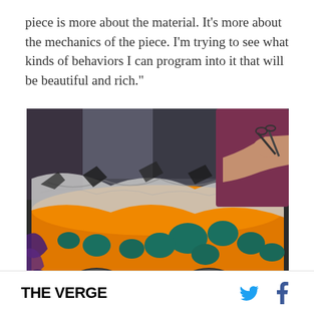piece is more about the material. It's more about the mechanics of the piece. I'm trying to see what kinds of behaviors I can program into it that will be beautiful and rich."
[Figure (photo): A person using scissors to cut or work with a colorful cylindrical art piece in a studio. The cylinder features an orange and teal pattern with a reflective silver textured surface on top.]
THE VERGE